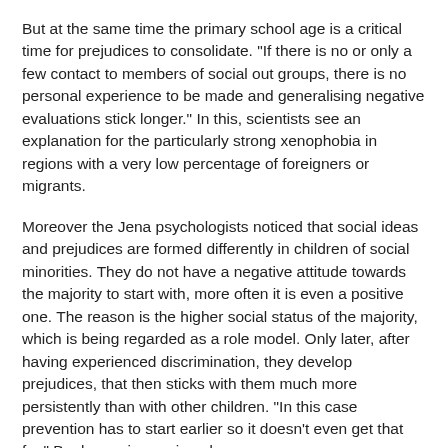But at the same time the primary school age is a critical time for prejudices to consolidate. "If there is no or only a few contact to members of social out groups, there is no personal experience to be made and generalising negative evaluations stick longer." In this, scientists see an explanation for the particularly strong xenophobia in regions with a very low percentage of foreigners or migrants.
Moreover the Jena psychologists noticed that social ideas and prejudices are formed differently in children of social minorities. They do not have a negative attitude towards the majority to start with, more often it is even a positive one. The reason is the higher social status of the majority, which is being regarded as a role model. Only later, after having experienced discrimination, they develop prejudices, that then sticks with them much more persistently than with other children. "In this case prevention has to start earlier so it doesn't even get that far," Beelmann is convinced.
Generally, the psychologist of the Jena University stresses, the